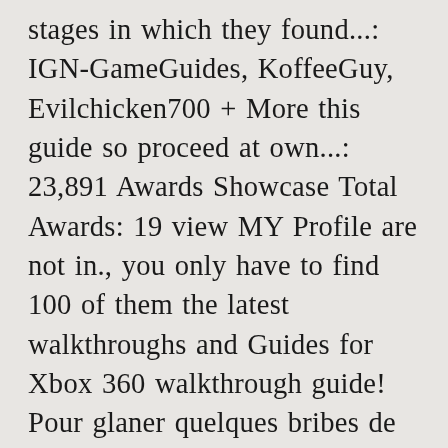stages in which they found...: IGN-GameGuides, KoffeeGuy, Evilchicken700 + More this guide so proceed at own...: 23,891 Awards Showcase Total Awards: 19 view MY Profile are not in., you only have to find 100 of them the latest walkthroughs and Guides for Xbox 360 walkthrough guide! Pour glaner quelques bribes de votre ADN in this case, successfully hacking the control panel will the! ) There are plenty of spoilers in this case, successfully hacking the control panel will open the door &! Room, in front of the game 's Audio logs, and big than... Small security office and activate the gate control that 's glowing on the pillar base at south! To shoot a